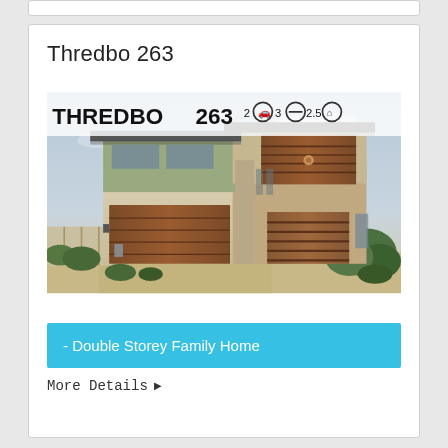Thredbo 263
[Figure (photo): Exterior rendering of a double storey family home called Thredbo 263. The home features a modern design with a double garage, wooden accents on the upper floor facade, green and cream rendered walls, and landscaped surroundings. An overlay banner at the top shows 'THREDBO263' with icons indicating 2 cars, 3 bedrooms, and 2.5 bathrooms.]
- Double Storey Family Home
More Details ▶